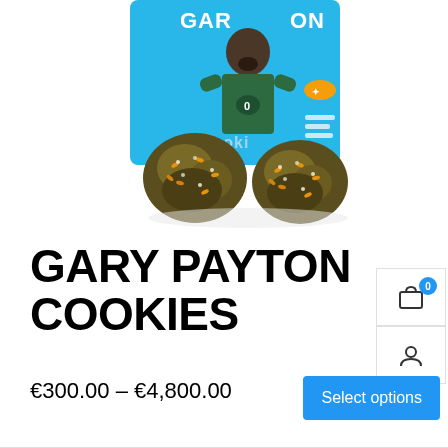[Figure (photo): Product photo showing cannabis buds in front of a blue Cookies branded bag featuring a basketball player (Gary Payton). The bag is light blue with the player wearing a green Celtics jersey. Two cannabis flower buds are placed in front of the packaging on a white background.]
GARY PAYTON COOKIES
€300.00 – €4,800.00